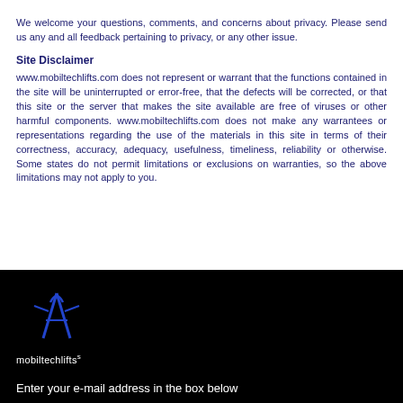We welcome your questions, comments, and concerns about privacy. Please send us any and all feedback pertaining to privacy, or any other issue.
Site Disclaimer
www.mobiltechlifts.com does not represent or warrant that the functions contained in the site will be uninterrupted or error-free, that the defects will be corrected, or that this site or the server that makes the site available are free of viruses or other harmful components. www.mobiltechlifts.com does not make any warrantees or representations regarding the use of the materials in this site in terms of their correctness, accuracy, adequacy, usefulness, timeliness, reliability or otherwise. Some states do not permit limitations or exclusions on warranties, so the above limitations may not apply to you.
[Figure (logo): Mobiltechlifts logo with stylized blue figure and text 'mobiltechlifts' on black background]
Enter your e-mail address in the box below